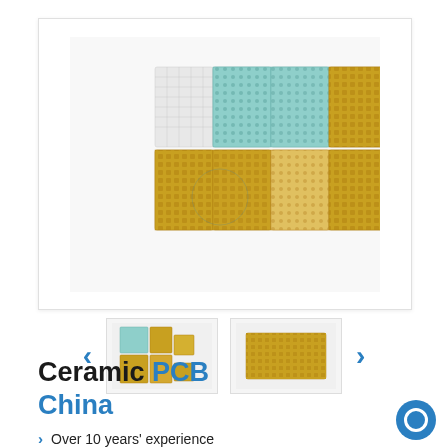[Figure (photo): Main product image showing multiple ceramic PCB panels arranged in a grid pattern with teal/green and gold/yellow colors on white background]
[Figure (photo): Thumbnail 1: Small image of ceramic PCB panels with teal and gold colors arranged in grid]
[Figure (photo): Thumbnail 2: Small image of a single gold/yellow ceramic PCB panel]
Ceramic PCB China
Over 10 years' experience